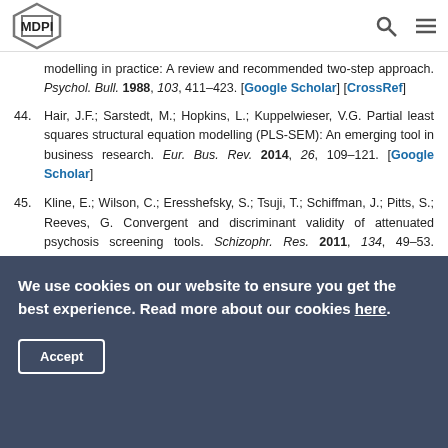MDPI
modelling in practice: A review and recommended two-step approach. Psychol. Bull. 1988, 103, 411–423. [Google Scholar] [CrossRef]
44. Hair, J.F.; Sarstedt, M.; Hopkins, L.; Kuppelwieser, V.G. Partial least squares structural equation modelling (PLS-SEM): An emerging tool in business research. Eur. Bus. Rev. 2014, 26, 109–121. [Google Scholar]
45. Kline, E.; Wilson, C.; Eresshefsky, S.; Tsuji, T.; Schiffman, J.; Pitts, S.; Reeves, G. Convergent and discriminant validity of attenuated psychosis screening tools. Schizophr. Res. 2011, 134, 49–53. [Google Scholar] [CrossRef]
We use cookies on our website to ensure you get the best experience. Read more about our cookies here.